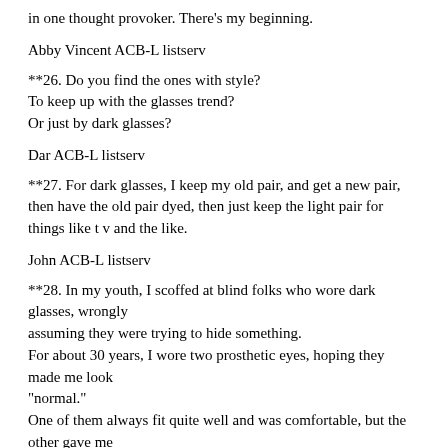in one thought provoker. There's my beginning.
Abby Vincent ACB-L listserv
**26. Do you find the ones with style?
To keep up with the glasses trend?
Or just by dark glasses?
Dar ACB-L listserv
**27. For dark glasses, I keep my old pair, and get a new pair, then have the old pair dyed, then just keep the light pair for things like t v and the like.
John ACB-L listserv
**28. In my youth, I scoffed at blind folks who wore dark glasses, wrongly
assuming they were trying to hide something.
For about 30 years, I wore two prosthetic eyes, hoping they made me look
"normal."
One of them always fit quite well and was comfortable, but the other gave me
trouble right from the very beginning, even after I
had them refitted at...